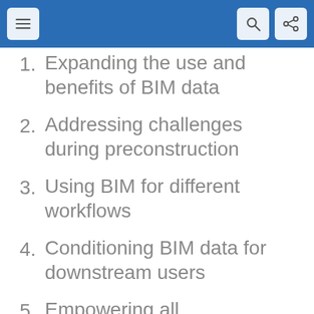1. Expanding the use and benefits of BIM data
2. Addressing challenges during preconstruction
3. Using BIM for different workflows
4. Conditioning BIM data for downstream users
5. Empowering all stakeholders regardless of BIM experience